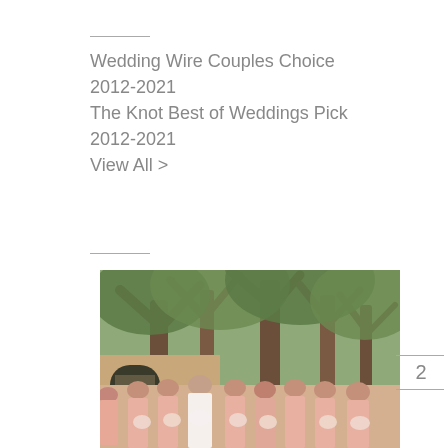Wedding Wire Couples Choice 2012-2021
The Knot Best of Weddings Pick 2012-2021
View All >
[Figure (photo): Wedding party photo: bride in white gown surrounded by bridesmaids in pink dresses, holding bouquets of white and pink flowers, standing outdoors under large trees in front of a tan stucco building with arched windows.]
2